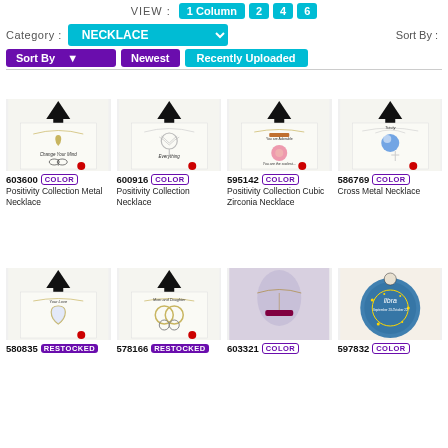VIEW : 1 Column  2  4  6
Category : NECKLACE    Sort By :
Sort By    Newest    Recently Uploaded
[Figure (screenshot): Product listing row 1: 603600 COLOR - Positivity Collection Metal Necklace; 600916 COLOR - Positivity Collection Necklace; 595142 COLOR - Positivity Collection Cubic Zirconia Necklace; 586769 COLOR - Cross Metal Necklace]
[Figure (screenshot): Product listing row 2: 580835 RESTOCKED; 578166 RESTOCKED; 603321 COLOR; 597832 COLOR]